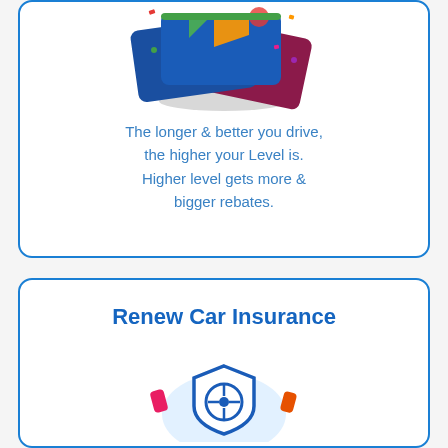[Figure (illustration): Colorful loyalty/level cards fanned out (blue, maroon, green) with confetti and a shadow ellipse below]
The longer & better you drive, the higher your Level is. Higher level gets more & bigger rebates.
Renew Car Insurance
[Figure (illustration): Car insurance shield icon with steering wheel inside, on a light blue circle background, with pink and orange decorative accent shapes]